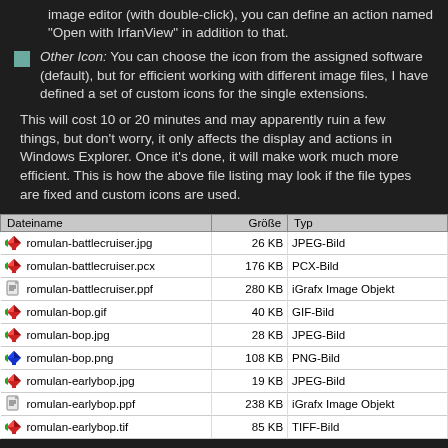image editor (with double-click), you can define an action named "Open with IrfanView" in addition to that.
Other Icon: You can choose the icon from the assigned software (default), but for efficient working with different image files, I have defined a set of custom icons for the single extensions.
This will cost 10 or 20 minutes and may apparently ruin a few things, but don't worry, it only affects the display and actions in Windows Explorer. Once it's done, it will make work much more efficient. This is how the above file listing may look if the file types are fixed and custom icons are used.
| Dateiname | Größe | Typ |
| --- | --- | --- |
| romulan-battlecruiser.jpg | 26 KB | JPEG-Bild |
| romulan-battlecruiser.pcx | 176 KB | PCX-Bild |
| romulan-battlecruiser.ppf | 280 KB | iGrafx Image Objekt |
| romulan-bop.gif | 40 KB | GIF-Bild |
| romulan-bop.jpg | 28 KB | JPEG-Bild |
| romulan-bop.png | 108 KB | PNG-Bild |
| romulan-earlybop.jpg | 19 KB | JPEG-Bild |
| romulan-earlybop.ppf | 238 KB | iGrafx Image Objekt |
| romulan-earlybop.tif | 85 KB | TIFF-Bild |